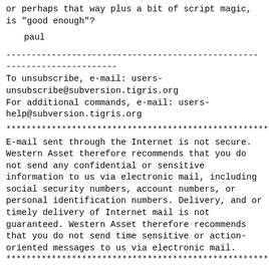or perhaps that way plus a bit of script magic, is "good enough"?
paul
------------------------------------------------------------------------
To unsubscribe, e-mail: users-unsubscribe@subversion.tigris.org
For additional commands, e-mail: users-help@subversion.tigris.org
************************************************************************
E-mail sent through the Internet is not secure. Western Asset therefore recommends that you do not send any confidential or sensitive information to us via electronic mail, including social security numbers, account numbers, or personal identification numbers. Delivery, and or timely delivery of Internet mail is not guaranteed. Western Asset therefore recommends that you do not send time sensitive or action-oriented messages to us via electronic mail.
************************************************************************
------------------------------------------------------------------------
To unsubscribe, e-mail: users-unsubscribe@subversion.tigris.org
For additional commands, e-mail: users-